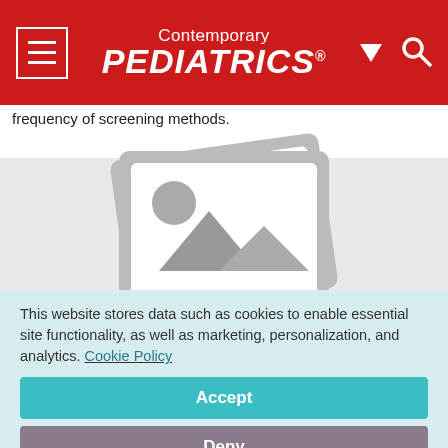Contemporary PEDIATRICS
frequency of screening methods.
[Figure (photo): Image placeholder with generic photo icon (stacked rectangles with landscape/mountain imagery placeholder)]
This website stores data such as cookies to enable essential site functionality, as well as marketing, personalization, and analytics. Cookie Policy
Accept
Deny